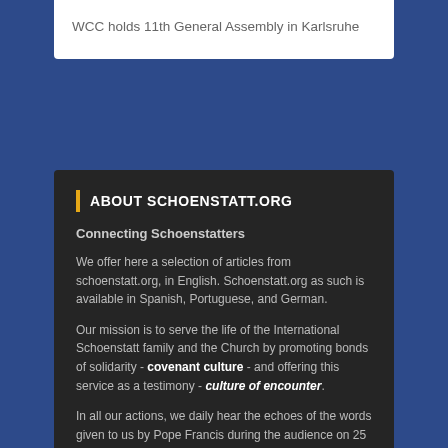WCC holds 11th General Assembly in Karlsruhe
ABOUT SCHOENSTATT.ORG
Connecting Schoenstatters
We offer here a selection of articles from schoenstatt.org, in English. Schoenstatt.org as such is available in Spanish, Portuguese, and German.
Our mission is to serve the life of the International Schoenstatt family and the Church by promoting bonds of solidarity - covenant culture - and offering this service as a testimony - culture of encounter.
In all our actions, we daily hear the echoes of the words given to us by Pope Francis during the audience on 25 October 2014, "a culture of encounter is a covenant culture that creates solidarity."